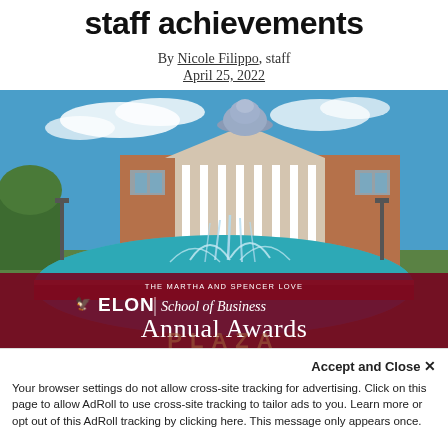staff achievements
By Nicole Filippo, staff
April 25, 2022
[Figure (photo): Photo of Elon University campus showing a large brick building with white columns and a dome, with a decorative fountain in the foreground under a blue sky. Overlay banner reads 'ELON School of Business Annual Awards' on a dark red background with a phoenix logo.]
Accept and Close ×
Your browser settings do not allow cross-site tracking for advertising. Click on this page to allow AdRoll to use cross-site tracking to tailor ads to you. Learn more or opt out of this AdRoll tracking by clicking here. This message only appears once.